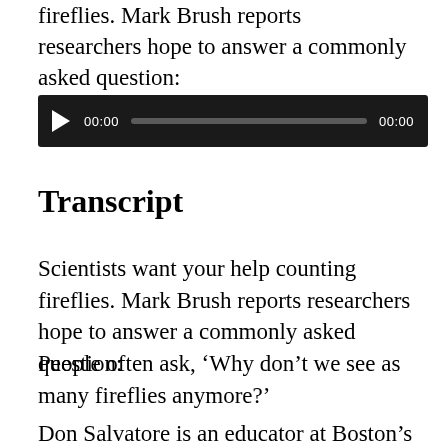fireflies. Mark Brush reports researchers hope to answer a commonly asked question:
[Figure (other): Audio player widget with dark background, play button, timestamp showing 00:00, progress bar, and end time 00:00]
Transcript
Scientists want your help counting fireflies. Mark Brush reports researchers hope to answer a commonly asked question:
People often ask, ‘Why don’t we see as many fireflies anymore?’
Don Salvatore is an educator at Boston’s